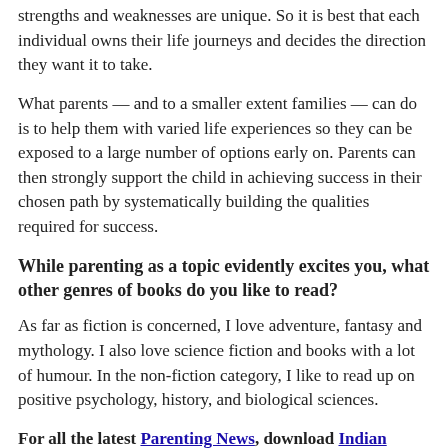strengths and weaknesses are unique. So it is best that each individual owns their life journeys and decides the direction they want it to take.
What parents — and to a smaller extent families — can do is to help them with varied life experiences so they can be exposed to a large number of options early on. Parents can then strongly support the child in achieving success in their chosen path by systematically building the qualities required for success.
While parenting as a topic evidently excites you, what other genres of books do you like to read?
As far as fiction is concerned, I love adventure, fantasy and mythology. I also love science fiction and books with a lot of humour. In the non-fiction category, I like to read up on positive psychology, history, and biological sciences.
For all the latest Parenting News, download Indian Express App.
🔷 Subscribe Now: Get Express Premium to access our in-depth reporting, explainers and opinions 🔷
For all the latest Parenting News, download Indian Express App.